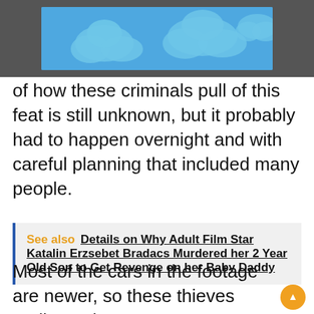[Figure (illustration): Blue sky with clouds banner ad on dark grey background]
of how these criminals pull of this feat is still unknown, but it probably had to happen overnight and with careful planning that included many people.
See also  Details on Why Adult Film Star Katalin Erzsebet Bradacs Murdered her 2 Year Old Son to Get Revenge on her Baby Daddy
Most of the cars in the footage are newer, so these thieves really made